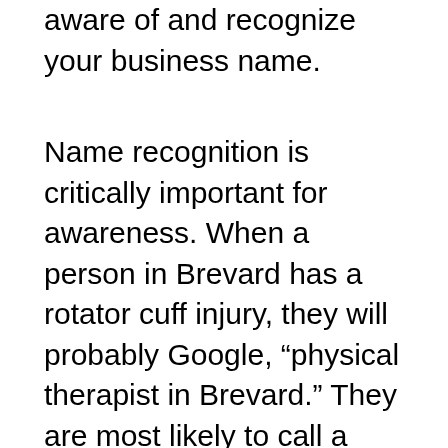aware of and recognize your business name.
Name recognition is critically important for awareness. When a person in Brevard has a rotator cuff injury, they will probably Google, “physical therapist in Brevard.” They are most likely to call a business when they recognize the name. In the absence of information to the contrary, prospects associate